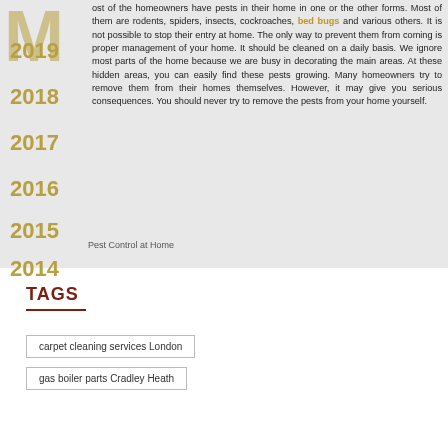Most of the homeowners have pests in their home in one or the other forms. Most of them are rodents, spiders, insects, cockroaches, bed bugs and various others. It is not possible to stop their entry at home. The only way to prevent them from coming is proper management of your home. It should be cleaned on a daily basis. We ignore most parts of the home because we are busy in decorating the main areas. At these hidden areas, you can easily find these pests growing. Many homeowners try to remove them from their homes themselves. However, it may give you serious consequences. You should never try to remove the pests from your home yourself.
[Figure (photo): Image placeholder labeled Pest Control at Home]
TAGS
carpet cleaning services London
gas boiler parts Cradley Heath